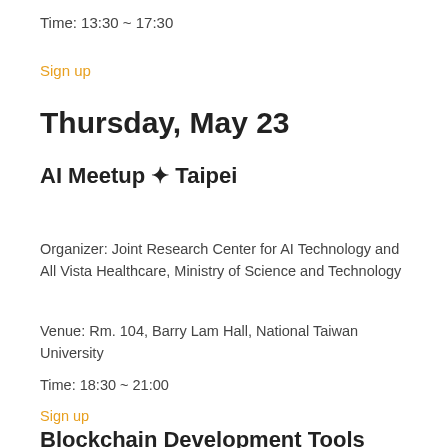Time: 13:30 ~ 17:30
Sign up
Thursday, May 23
AI Meetup ✦ Taipei
Organizer: Joint Research Center for AI Technology and All Vista Healthcare, Ministry of Science and Technology
Venue: Rm. 104, Barry Lam Hall, National Taiwan University
Time: 18:30 ~ 21:00
Sign up
Blockchain Development Tools